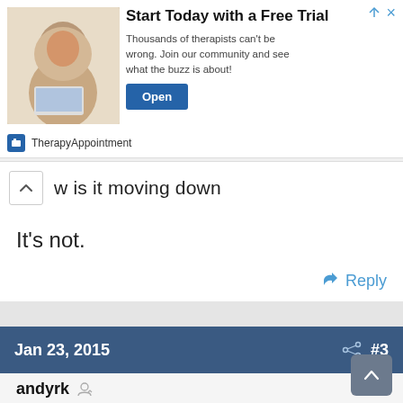[Figure (photo): Advertisement banner for TherapyAppointment with photo of woman in hijab at laptop, headline 'Start Today with a Free Trial', text 'Thousands of therapists can't be wrong. Join our community and see what the buzz is about!', and an Open button.]
w is it moving down
It's not.
Reply
Jan 23, 2015 #3
andyrk